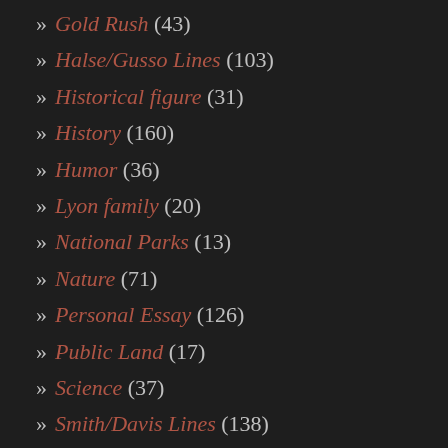» Gold Rush (43)
» Halse/Gusso Lines (103)
» Historical figure (31)
» History (160)
» Humor (36)
» Lyon family (20)
» National Parks (13)
» Nature (71)
» Personal Essay (126)
» Public Land (17)
» Science (37)
» Smith/Davis Lines (138)
» Social issues (55)
» Travel (89)
» World War II (?)